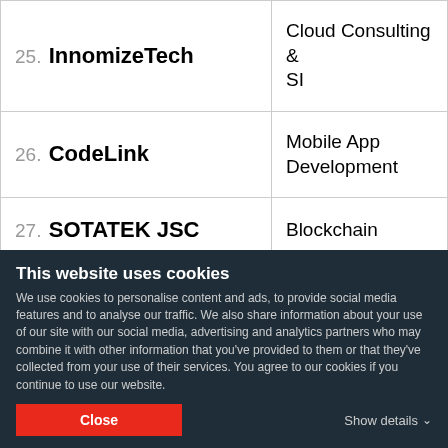| Company | Category |
| --- | --- |
| 25. InnomizeTech | Cloud Consulting & SI |
| 26. CodeLink | Mobile App Development |
| 27. SOTATEK JSC | Blockchain |
This website uses cookies
We use cookies to personalise content and ads, to provide social media features and to analyse our traffic. We also share information about your use of our site with our social media, advertising and analytics partners who may combine it with other information that you've provided to them or that they've collected from your use of their services. You agree to our cookies if you continue to use our website.